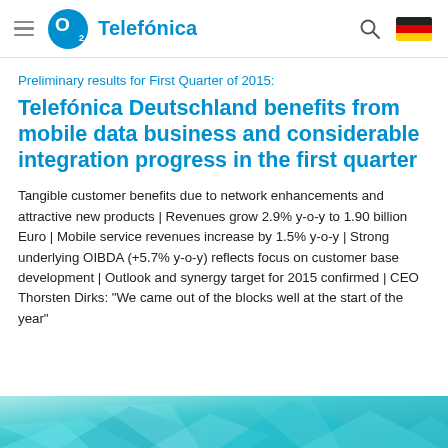O2 Telefónica
Preliminary results for First Quarter of 2015:
Telefónica Deutschland benefits from mobile data business and considerable integration progress in the first quarter
Tangible customer benefits due to network enhancements and attractive new products | Revenues grow 2.9% y-o-y to 1.90 billion Euro | Mobile service revenues increase by 1.5% y-o-y | Strong underlying OIBDA (+5.7% y-o-y) reflects focus on customer base development | Outlook and synergy target for 2015 confirmed | CEO Thorsten Dirks: "We came out of the blocks well at the start of the year"
[Figure (photo): Decorative abstract geometric image in teal/cyan tones at the bottom of the page]